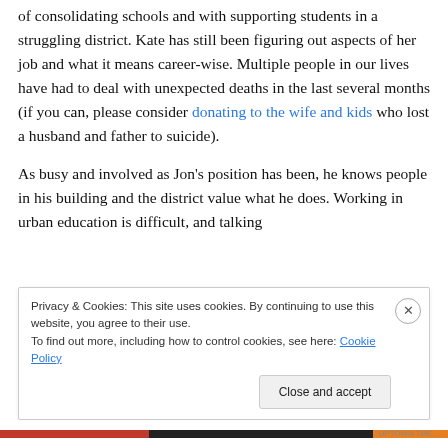of consolidating schools and with supporting students in a struggling district. Kate has still been figuring out aspects of her job and what it means career-wise. Multiple people in our lives have had to deal with unexpected deaths in the last several months (if you can, please consider donating to the wife and kids who lost a husband and father to suicide).
As busy and involved as Jon's position has been, he knows people in his building and the district value what he does. Working in urban education is difficult, and talking
Privacy & Cookies: This site uses cookies. By continuing to use this website, you agree to their use.
To find out more, including how to control cookies, see here: Cookie Policy